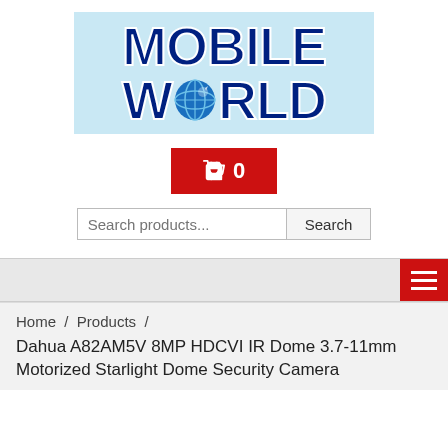[Figure (logo): Mobile World logo on light blue background with globe replacing the O in WORLD]
[Figure (infographic): Red shopping cart button with cart icon and number 0]
Search products...
Search
[Figure (infographic): Red hamburger menu button with three white lines]
Home / Products /
Dahua A82AM5V 8MP HDCVI IR Dome 3.7-11mm Motorized Starlight Dome Security Camera